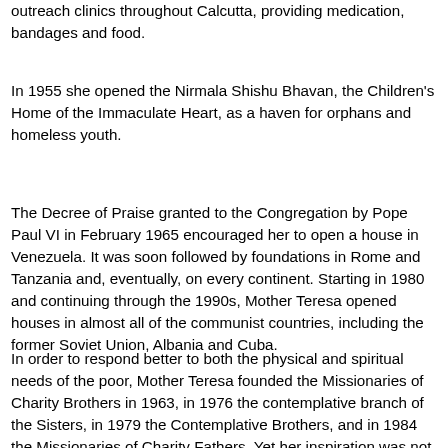outreach clinics throughout Calcutta, providing medication, bandages and food.
In 1955 she opened the Nirmala Shishu Bhavan, the Children's Home of the Immaculate Heart, as a haven for orphans and homeless youth.
The Decree of Praise granted to the Congregation by Pope Paul VI in February 1965 encouraged her to open a house in Venezuela. It was soon followed by foundations in Rome and Tanzania and, eventually, on every continent. Starting in 1980 and continuing through the 1990s, Mother Teresa opened houses in almost all of the communist countries, including the former Soviet Union, Albania and Cuba.
In order to respond better to both the physical and spiritual needs of the poor, Mother Teresa founded the Missionaries of Charity Brothers in 1963, in 1976 the contemplative branch of the Sisters, in 1979 the Contemplative Brothers, and in 1984 the Missionaries of Charity Fathers. Yet her inspiration was not limited to those with religious vocations. She formed the Co-Workers of Mother Teresa and the Sick...